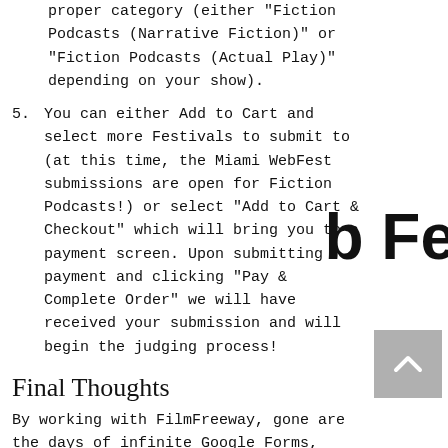proper category (either "Fiction Podcasts (Narrative Fiction)" or "Fiction Podcasts (Actual Play)" depending on your show).
5. You can either Add to Cart and select more Festivals to submit to (at this time, the Miami WebFest submissions are open for Fiction Podcasts!) or select "Add to Cart & Checkout" which will bring you to a payment screen. Upon submitting payment and clicking "Pay & Complete Order" we will have received your submission and will begin the judging process!
Final Thoughts
By working with FilmFreeway, gone are the days of infinite Google Forms, Dropbox Request folders, etc. This will streamline everything for you AND for us, and as more and more WebFests